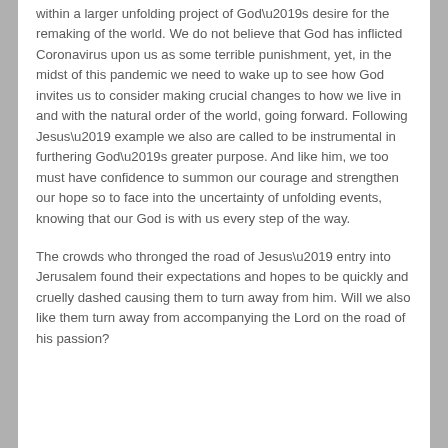within a larger unfolding project of God’s desire for the remaking of the world. We do not believe that God has inflicted Coronavirus upon us as some terrible punishment, yet, in the midst of this pandemic we need to wake up to see how God invites us to consider making crucial changes to how we live in and with the natural order of the world, going forward. Following Jesus’ example we also are called to be instrumental in furthering God’s greater purpose. And like him, we too must have confidence to summon our courage and strengthen our hope so to face into the uncertainty of unfolding events, knowing that our God is with us every step of the way.
The crowds who thronged the road of Jesus’ entry into Jerusalem found their expectations and hopes to be quickly and cruelly dashed causing them to turn away from him. Will we also like them turn away from accompanying the Lord on the road of his passion?